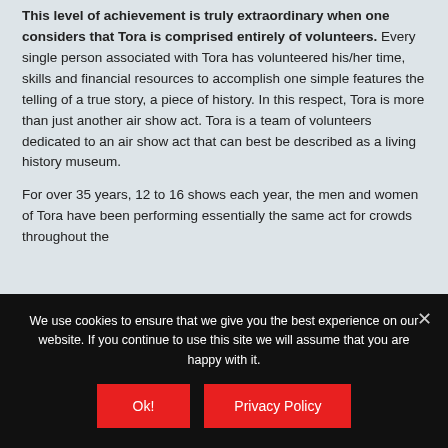This level of achievement is truly extraordinary when one considers that Tora is comprised entirely of volunteers. Every single person associated with Tora has volunteered his/her time, skills and financial resources to accomplish one simple features the telling of a true story, a piece of history. In this respect, Tora is more than just another air show act. Tora is a team of volunteers dedicated to an air show act that can best be described as a living history museum.
For over 35 years, 12 to 16 shows each year, the men and women of Tora have been performing essentially the same act for crowds throughout the
We use cookies to ensure that we give you the best experience on our website. If you continue to use this site we will assume that you are happy with it.